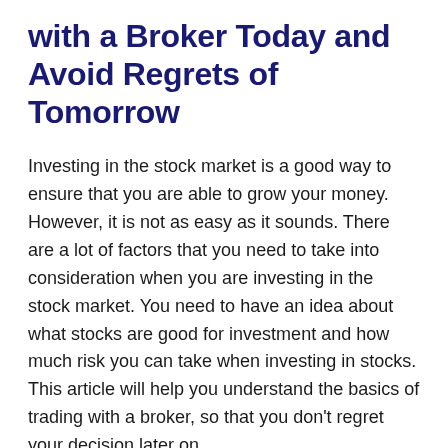with a Broker Today and Avoid Regrets of Tomorrow
Investing in the stock market is a good way to ensure that you are able to grow your money. However, it is not as easy as it sounds. There are a lot of factors that you need to take into consideration when you are investing in the stock market. You need to have an idea about what stocks are good for investment and how much risk you can take when investing in stocks. This article will help you understand the basics of trading with a broker, so that you don't regret your decision later on.
One of the most important things about trading with a broker is understanding their commission fees. Many brokers offer low commissions on trades, but they